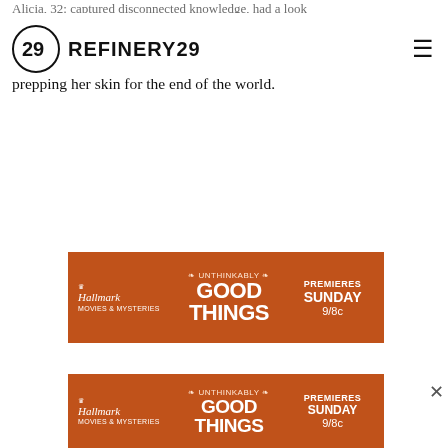REFINERY29
prepping her skin for the end of the world.
[Figure (screenshot): Hallmark Movies & Mysteries advertisement banner — orange background, Hallmark logo left, 'UNTHINKABLY GOOD THINGS' in center, 'PREMIERES SUNDAY 9/8c' on right]
[Figure (screenshot): Hallmark Movies & Mysteries advertisement banner (sticky/smaller) — same design, orange background, 'UNTHINKABLY GOOD THINGS', 'PREMIERES SUNDAY 9/8c']